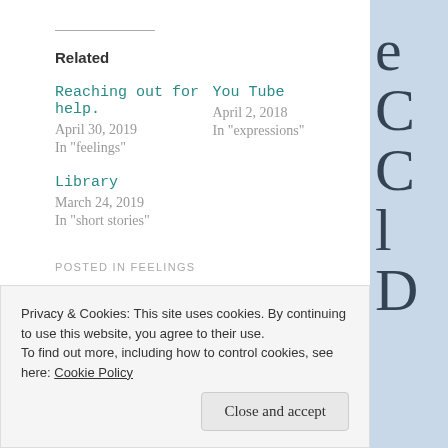Related
Reaching out for help.
April 30, 2019
In "feelings"
You Tube
April 2, 2018
In "expressions"
Library
March 24, 2019
In "short stories"
POSTED IN FEELINGS
Privacy & Cookies: This site uses cookies. By continuing to use this website, you agree to their use.
To find out more, including how to control cookies, see here: Cookie Policy
Close and accept